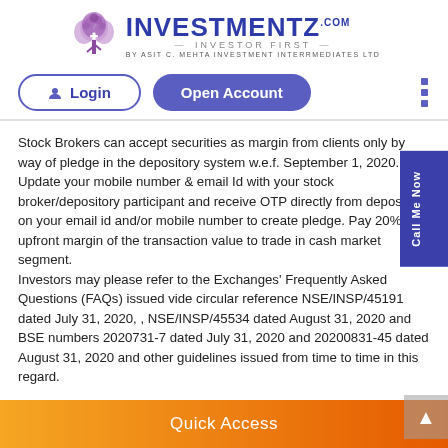[Figure (logo): Investmentz.com logo with tree icon, 'INVESTOR FIRST' tagline and 'BY ASIT C. MEHTA INVESTMENT INTERRMEDIATES LTD' text]
Login | Open Account
Stock Brokers can accept securities as margin from clients only by way of pledge in the depository system w.e.f. September 1, 2020. Update your mobile number & email Id with your stock broker/depository participant and receive OTP directly from depository on your email id and/or mobile number to create pledge. Pay 20% upfront margin of the transaction value to trade in cash market segment. Investors may please refer to the Exchanges' Frequently Asked Questions (FAQs) issued vide circular reference NSE/INSP/45191 dated July 31, 2020, , NSE/INSP/45534 dated August 31, 2020 and BSE numbers 2020731-7 dated July 31, 2020 and 20200831-45 dated August 31, 2020 and other guidelines issued from time to time in this regard.
Quick Access